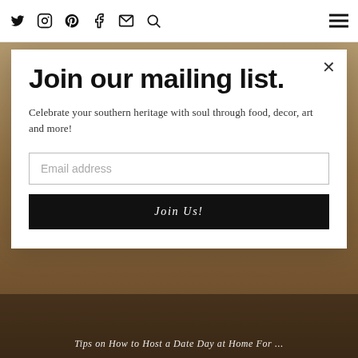Twitter Instagram Pinterest Facebook Email Search | Menu
Join our mailing list.
Celebrate your southern heritage with soul through food, decor, art and more!
Email address
Join Us!
Tips on How to Host a Date Day at Home For ...